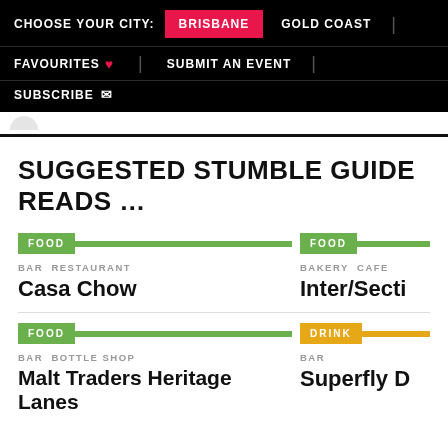CHOOSE YOUR CITY: BRISBANE GOLD COAST | FAVOURITES ♥ | SUBMIT AN EVENT | SUBSCRIBE ✉
SUGGESTED STUMBLE GUIDE READS …
FOOD | BAR RESTAURANT | Casa Chow
FOOD | BAKERY CAFE | Inter/Secti...
FOOD | BAR BOTTLE SHOP | Malt Traders Heritage Lanes
DRINK | BAR | Superfly D...